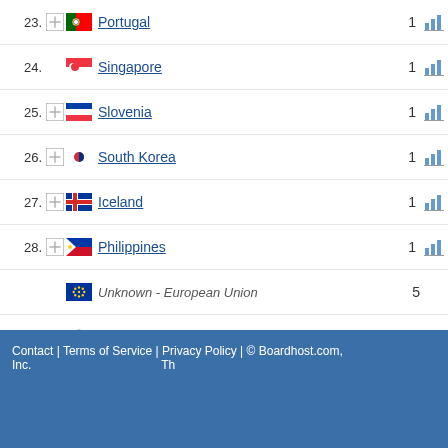23. Portugal 1
24. Singapore 1
25. Slovenia 1
26. South Korea 1
27. Iceland 1
28. Philippines 1
Unknown - European Union 5
Unknown - Asia/Pacific Region 1
Contact | Terms of Service | Privacy Policy | © Boardhost.com, Inc.  Th